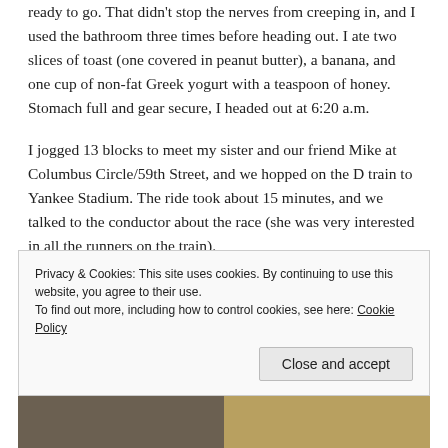ready to go. That didn't stop the nerves from creeping in, and I used the bathroom three times before heading out. I ate two slices of toast (one covered in peanut butter), a banana, and one cup of non-fat Greek yogurt with a teaspoon of honey. Stomach full and gear secure, I headed out at 6:20 a.m.
I jogged 13 blocks to meet my sister and our friend Mike at Columbus Circle/59th Street, and we hopped on the D train to Yankee Stadium. The ride took about 15 minutes, and we talked to the conductor about the race (she was very interested in all the runners on the train).
Privacy & Cookies: This site uses cookies. By continuing to use this website, you agree to their use. To find out more, including how to control cookies, see here: Cookie Policy
[Figure (photo): Bottom strip showing partial photos of buildings/street scenes]